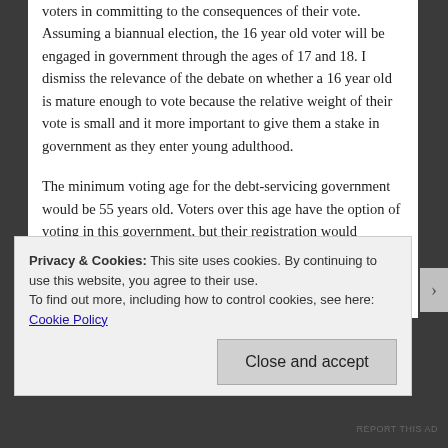voters in committing to the consequences of their vote. Assuming a biannual election, the 16 year old voter will be engaged in government through the ages of 17 and 18. I dismiss the relevance of the debate on whether a 16 year old is mature enough to vote because the relative weight of their vote is small and it more important to give them a stake in government as they enter young adulthood.

The minimum voting age for the debt-servicing government would be 55 years old. Voters over this age have the option of voting in this government, but their registration would automatically remove voter registration for the operational government. Although older voters can choose to remain in the operational government, the implications of
Privacy & Cookies: This site uses cookies. By continuing to use this website, you agree to their use.
To find out more, including how to control cookies, see here: Cookie Policy
Close and accept